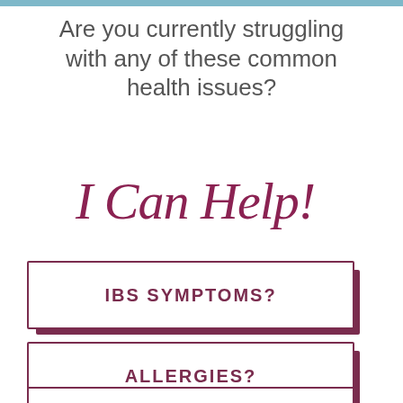Are you currently struggling with any of these common health issues?
[Figure (illustration): Handwritten cursive script reading 'I Can Help!' in dark maroon/wine color]
IBS SYMPTOMS?
ALLERGIES?